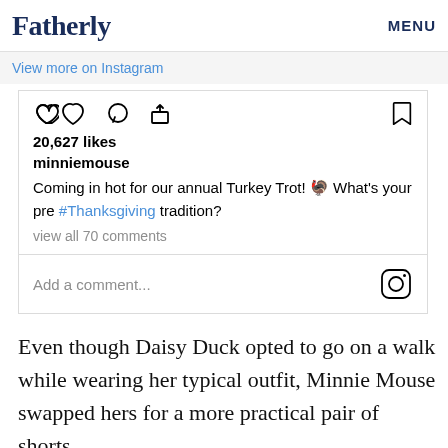Fatherly   MENU
View more on Instagram
[Figure (screenshot): Instagram post embed showing icons (heart, comment, share, bookmark), 20,627 likes, username minniemouse, caption 'Coming in hot for our annual Turkey Trot! 🦃 What's your pre #Thanksgiving tradition?', 'view all 70 comments', and Add a comment field with Instagram logo]
Even though Daisy Duck opted to go on a walk while wearing her typical outfit, Minnie Mouse swapped hers for a more practical pair of shorts.